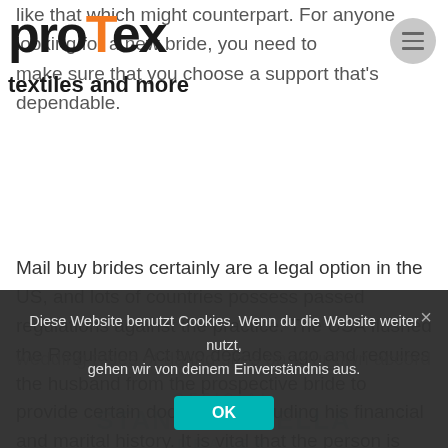[Figure (logo): Protex logo with orange T letter and subtitle 'textiles and more']
like that which might counterpart. For anyone looking for a new bride, you need to make sure that you choose a support that's dependable.
Mail buy brides certainly are a legal option in the US, and lots of countries possess passed regulations against the practice. The USA flushed the Regulation Act two decades ago and requires the husband from the prospective bride to provide certain documents including his financial and marital history. It is vital that the person is accountable when it comes to this, as a great Asian bride-to-be will be increased differently than a white man. The laws aren't
[Figure (other): Stanley/Stella official dealer watermark overlay]
wedding types of dating sites on your own accord
Diese Website benutzt Cookies. Wenn du die Website weiter nutzt, gehen wir von deinem Einverständnis aus.